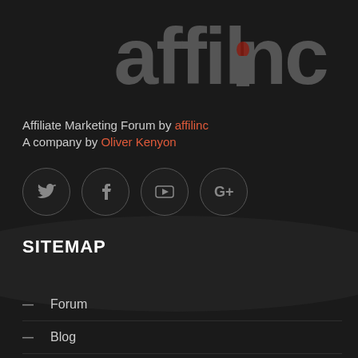[Figure (logo): affilinc logo in large grey text with a red-tinted 'i']
Affiliate Marketing Forum by affilinc
A company by Oliver Kenyon
[Figure (infographic): Four social media icons in circles: Twitter, Facebook, YouTube, Google+]
SITEMAP
Forum
Blog
FAQ
Contact Us
IMPORTANT LINKS